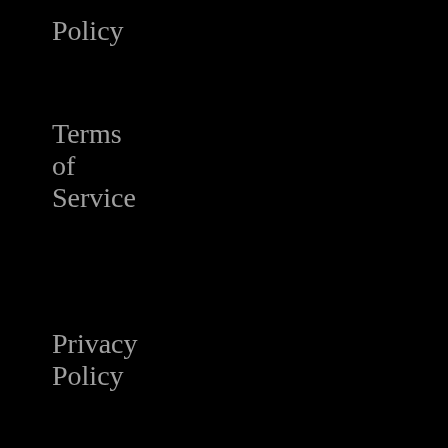Policy
Terms of Service
Privacy Policy
Contact Us
Shop
Cart
Checkout